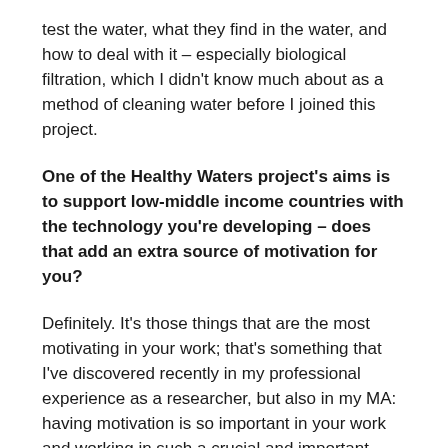test the water, what they find in the water, and how to deal with it – especially biological filtration, which I didn't know much about as a method of cleaning water before I joined this project.
One of the Healthy Waters project's aims is to support low-middle income countries with the technology you're developing – does that add an extra source of motivation for you?
Definitely. It's those things that are the most motivating in your work; that's something that I've discovered recently in my professional experience as a researcher, but also in my MA: having motivation is so important in your work and working in such a crucial and important area only motivates me more. It's inspiring, really.